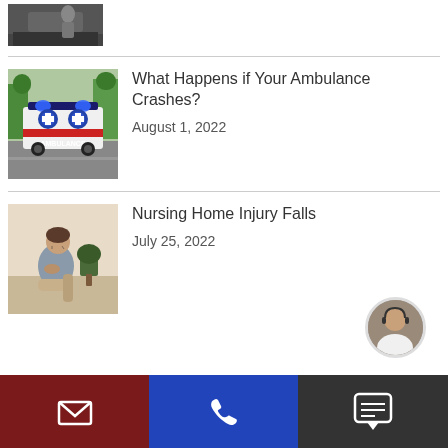[Figure (photo): Top partial image of a person near a car, cropped]
[Figure (photo): Ambulance on the road with lights on, rear view, trees in background]
What Happens if Your Ambulance Crashes?
August 1, 2022
[Figure (photo): Elderly person sitting on ground looking distressed, nursing home injury fall]
Nursing Home Injury Falls
July 25, 2022
[Figure (photo): Customer service representative avatar for chat]
Email | Phone | Chat